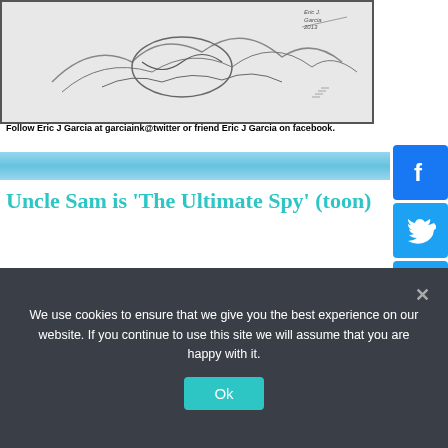[Figure (illustration): Cartoon sketch illustration by Eric J Garcia, showing a figure, signed 'Eric J Garcia 2013']
Follow Eric J Garcia at garciaink@twitter or friend Eric J Garcia on facebook.
[Figure (illustration): Blue decorative banner with light blue gradient pattern]
Uncle Sam is 'The Ultimate Spy' (toon)
July 17, 2013 by Cartoonistas
We use cookies to ensure that we give you the best experience on our website. If you continue to use this site we will assume that you are happy with it.